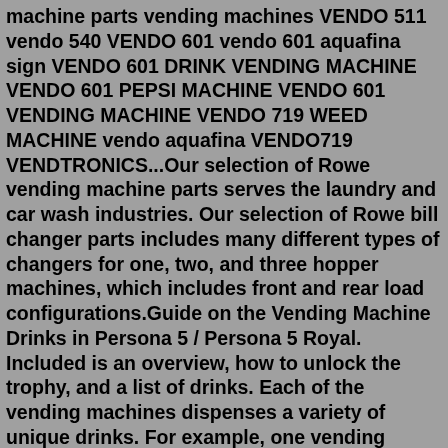machine parts vending machines VENDO 511 vendo 540 VENDO 601 vendo 601 aquafina sign VENDO 601 DRINK VENDING MACHINE VENDO 601 PEPSI MACHINE VENDO 601 VENDING MACHINE VENDO 719 WEED MACHINE vendo aquafina VENDO719 VENDTRONICS...Our selection of Rowe vending machine parts serves the laundry and car wash industries. Our selection of Rowe bill changer parts includes many different types of changers for one, two, and three hopper machines, which includes front and rear load configurations.Guide on the Vending Machine Drinks in Persona 5 / Persona 5 Royal. Included is an overview, how to unlock the trophy, and a list of drinks. Each of the vending machines dispenses a variety of unique drinks. For example, one vending machine in Akihabara stocks Second Maid, while another...French Fries Vending Machine In Australia. The Machine Stores Frozen Potatoes. When An Order Comes In, The Robot Genius Who Lives Inside Will Find For Then For You Nip Up The Sauce Too